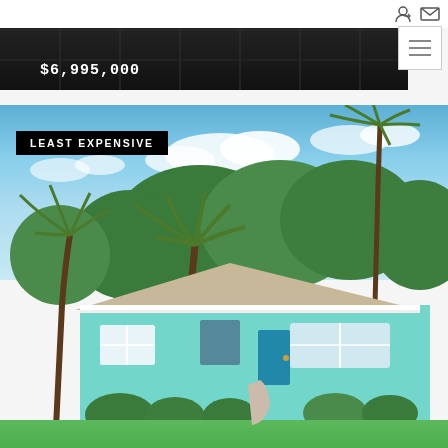[navigation icons: login, mail, hamburger menu]
[Figure (photo): Top portion of a dark building exterior photo with price label '$6,995,000' overlaid in white monospace text on a dark background]
[Figure (photo): Exterior photo of a mid-century modern single-story house with light teal/turquoise painted walls, white trim, palm trees and lush tropical greenery, green lawn in foreground, blue sky with scattered clouds. Badge reading 'LEAST EXPENSIVE' in white text on black background overlaid on upper-left of image.]